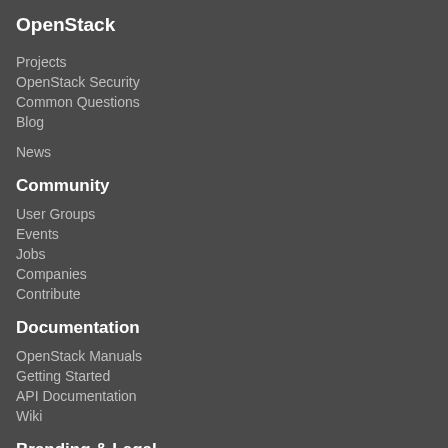OpenStack
Projects
OpenStack Security
Common Questions
Blog
News
Community
User Groups
Events
Jobs
Companies
Contribute
Documentation
OpenStack Manuals
Getting Started
API Documentation
Wiki
Branding & Legal